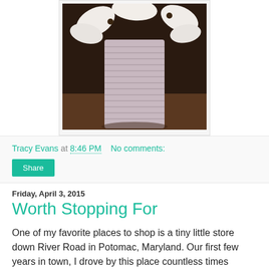[Figure (photo): Close-up photo of a white ribbed cup or vase with white flower petals/orchids arranged around the top, set against a dark background with warm tones.]
Tracy Evans at 8:46 PM   No comments:
Share
Friday, April 3, 2015
Worth Stopping For
One of my favorite places to shop is a tiny little store down River Road in Potomac, Maryland. Our first few years in town, I drove by this place countless times before I finally